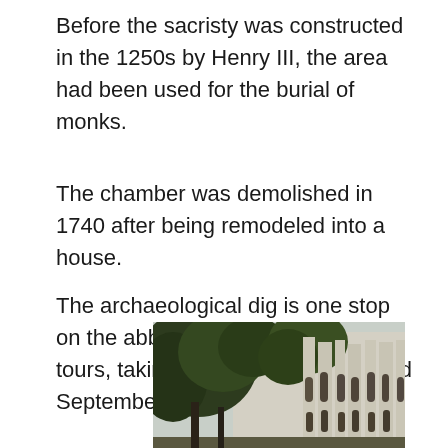Before the sacristy was constructed in the 1250s by Henry III, the area had been used for the burial of monks.
The chamber was demolished in 1740 after being remodeled into a house.
The archaeological dig is one stop on the abbey's Hidden Highlights tours, taking place between July and September.
[Figure (photo): Photograph of Westminster Abbey exterior showing gothic architecture with ornate stone detailing and large trees in the foreground against an overcast sky.]